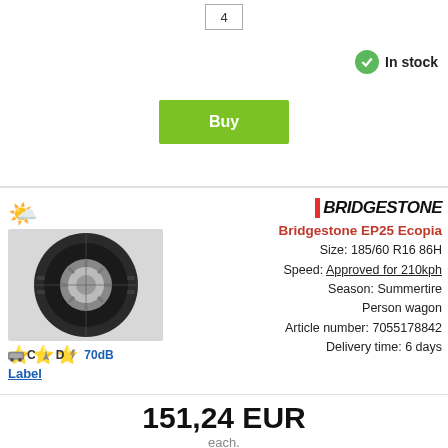4
In stock
Buy
[Figure (photo): Bridgestone EP25 Ecopia tire image with summer season icon and star ratings]
C D 70dB Label
Bridgestone EP25 Ecopia
Size: 185/60 R16 86H
Speed: Approved for 210kph
Season: Summertire
Person wagon
Article number: 7055178842
Delivery time: 6 days
151,24 EUR
each.
Funded 4 pcs from per. month.
16,33 EUR
4
0
Contact
In stock